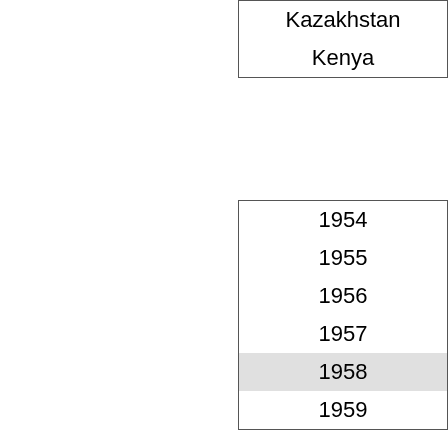| Kazakhstan |
| Kenya |
| 1954 |
| 1955 |
| 1956 |
| 1957 |
| 1958 |
| 1959 |